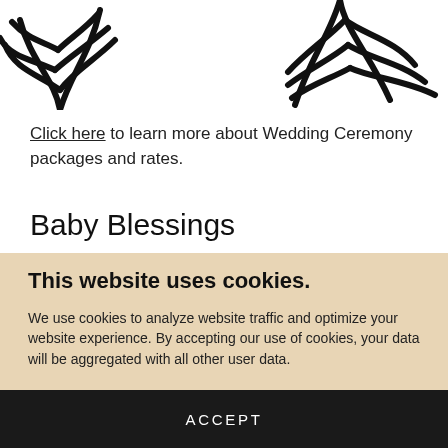[Figure (illustration): Partial illustration of decorative botanical/floral line art in black on white background, cropped at top]
Click here to learn more about Wedding Ceremony packages and rates.
Baby Blessings
This website uses cookies.
We use cookies to analyze website traffic and optimize your website experience. By accepting our use of cookies, your data will be aggregated with all other user data.
ACCEPT